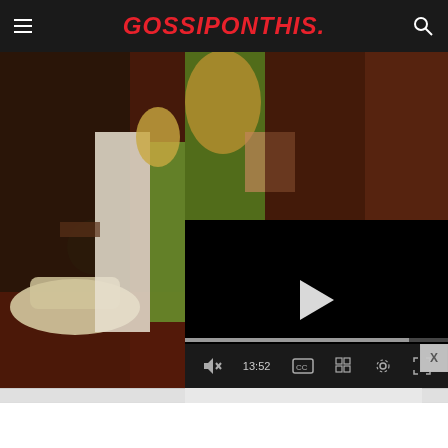GOSSIPONTHIS.
[Figure (photo): Photo of two people standing together indoors near a curtain; one wearing white outfit, the other in a green floral top with long blonde hair.]
[Figure (screenshot): Embedded video player with black background, play button, progress bar at 85%, time display 13:52, and media controls (mute, CC, grid, settings, fullscreen).]
[Figure (other): Advertisement placeholder area with X close button, light gray background.]